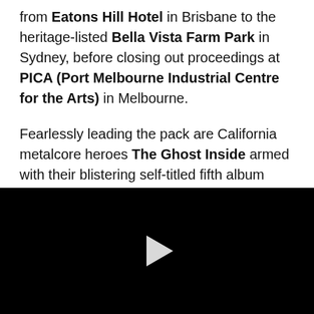from Eatons Hill Hotel in Brisbane to the heritage-listed Bella Vista Farm Park in Sydney, before closing out proceedings at PICA (Port Melbourne Industrial Centre for the Arts) in Melbourne.

Fearlessly leading the pack are California metalcore heroes The Ghost Inside armed with their blistering self-titled fifth album released in 2020. Expect an absolute sonic KO from these LA lords when they take the stage. Also joining in on the action is Florida post-hardcore staples Underoath who will bring their brand-new album Voyeurist along for the ride, while pop-rock gets set to entirely level up in the hands of
[Figure (other): Black video player panel with a white play button triangle in the center]